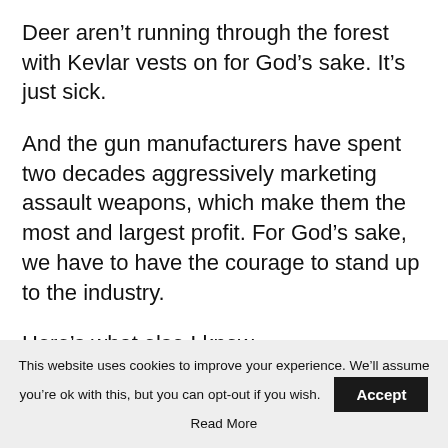Deer aren’t running through the forest with Kevlar vests on for God’s sake. It’s just sick.
And the gun manufacturers have spent two decades aggressively marketing assault weapons, which make them the most and largest profit. For God’s sake, we have to have the courage to stand up to the industry.
Here’s what else I know.
Most Americans support common sense laws, common sense gun laws.
This website uses cookies to improve your experience. We’ll assume you’re ok with this, but you can opt-out if you wish. Accept Read More